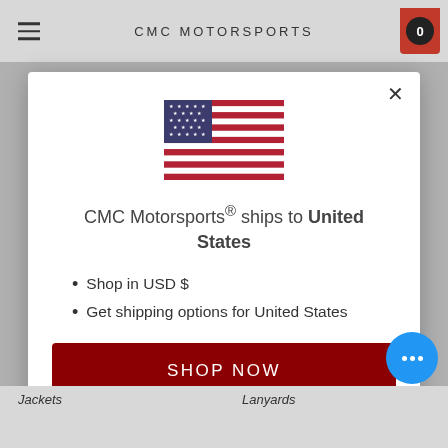CMC MOTORSPORTS
[Figure (illustration): United States flag]
CMC Motorsports® ships to United States
Shop in USD $
Get shipping options for United States
SHOP NOW
CHANGE SHIPPING COUNTRY
Jackets    Lanyards